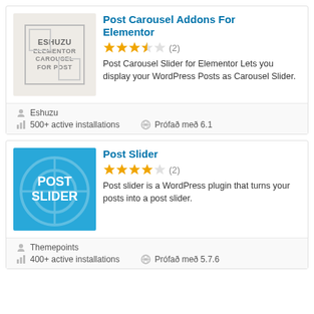[Figure (illustration): Plugin icon for Post Carousel Addons For Elementor — grey background with bordered frame and ESHUZU text]
Post Carousel Addons For Elementor
★★★★☆ (2)
Post Carousel Slider for Elementor Lets you display your WordPress Posts as Carousel Slider.
Eshuzu
500+ active installations
Prófað með 6.1
[Figure (illustration): Plugin icon for Post Slider — blue background with POST SLIDER text and WordPress logo watermark]
Post Slider
★★★★☆ (2)
Post slider is a WordPress plugin that turns your posts into a post slider.
Themepoints
400+ active installations
Prófað með 5.7.6